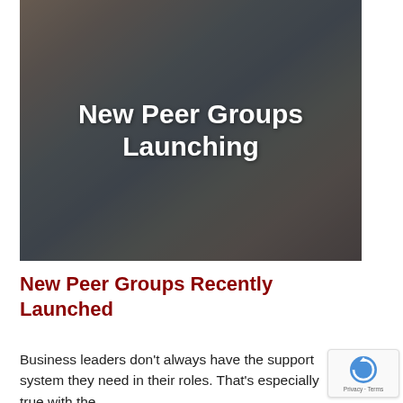[Figure (photo): Photo of business people in a meeting, with text overlay reading 'New Peer Groups Launching']
New Peer Groups Recently Launched
Business leaders don't always have the support system they need in their roles. That's espe...